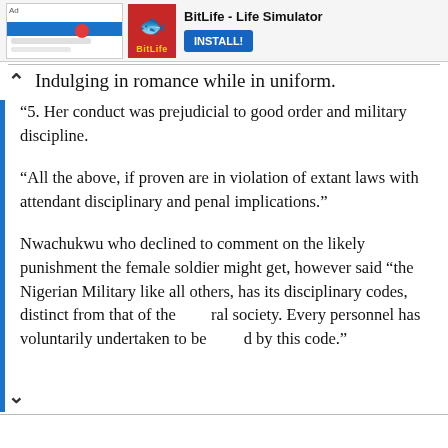[Figure (screenshot): Advertisement banner for BitLife - Life Simulator app with install button]
Indulging in romance while in uniform.
“5. Her conduct was prejudicial to good order and military discipline.
“All the above, if proven are in violation of extant laws with attendant disciplinary and penal implications.”
Nwachukwu who declined to comment on the likely punishment the female soldier might get, however said “the Nigerian Military like all others, has its disciplinary codes, distinct from that of the general society. Every personnel has voluntarily undertaken to be bound by this code.”